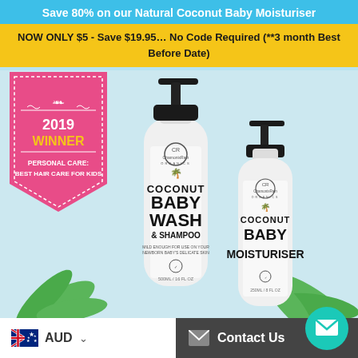Save 80% on our Natural Coconut Baby Moisturiser
NOW ONLY $5 - Save $19.95… No Code Required (**3 month Best Before Date)
[Figure (illustration): Award badge: 2019 WINNER - Personal Care: Best Hair Care for Kids, pink banner-style badge]
[Figure (photo): Two white pump bottles of Chamonix Rain Organics products: Coconut Baby Wash & Shampoo (tall) and Coconut Baby Moisturiser (shorter), with green plant leaves in background]
AUD
Contact Us